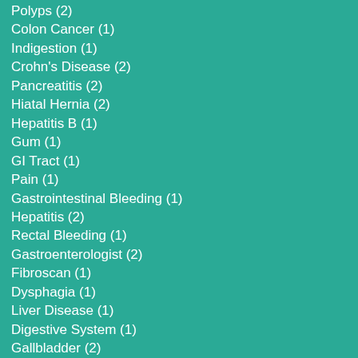Polyps (2)
Colon Cancer (1)
Indigestion (1)
Crohn's Disease (2)
Pancreatitis (2)
Hiatal Hernia (2)
Hepatitis B (1)
Gum (1)
GI Tract (1)
Pain (1)
Gastrointestinal Bleeding (1)
Hepatitis (2)
Rectal Bleeding (1)
Gastroenterologist (2)
Fibroscan (1)
Dysphagia (1)
Liver Disease (1)
Digestive System (1)
Gallbladder (2)
Gallbladder Attack (2)
Gluten-free Diet (1)
Abdominal Pain (2)